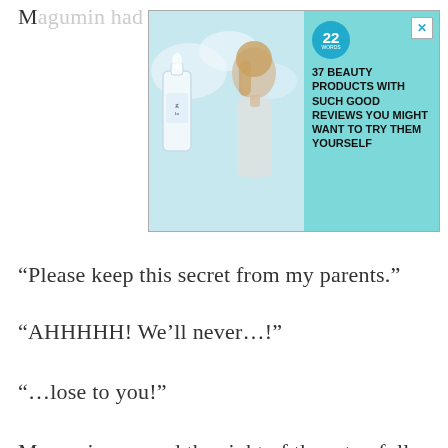M…
[Figure (advertisement): Advertisement banner: teal background, image of a nail polish bottle (glo brand) and a woman, circular badge '22 WORDS', text '37 BEAUTY PRODUCTS WITH SUCH GOOD REVIEWS YOU MIGHT WANT TO TRY THEM YOURSELF', close button X]
"Please keep this secret from my parents."
"AHHHHH! We'll never…!"
"…lose to you!"
Megumin savored the sight of them tearfully running away.
Then cracked a evil smile of victory.
CLOSE
—After sending them off, we bought a bunch